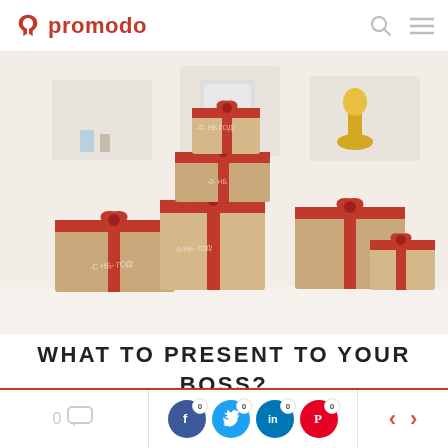promodo
[Figure (photo): A pile of brown cardboard gift boxes wrapped with red ribbons and bows, stacked on a white shelf surface in an office room with white wall shelves in the background.]
WHAT TO PRESENT TO YOUR BOSS?
0 comments | Facebook 0 | Twitter 0 | LinkedIn 0 | Pinterest 0 | prev | next